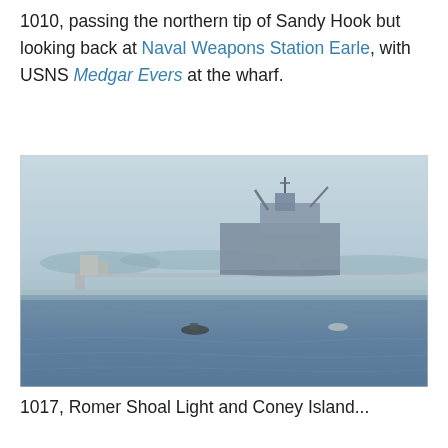1010, passing the northern tip of Sandy Hook but looking back at Naval Weapons Station Earle, with USNS Medgar Evers at the wharf.
[Figure (photo): Photograph taken from water showing a large naval cargo ship docked at a wharf, likely Naval Weapons Station Earle. The sky is hazy/grey-blue. A small motorboat is visible in the foreground on blue choppy water. A long pier extends to the right. Trees are visible in the background.]
1017, Romer Shoal Light and Coney Island...